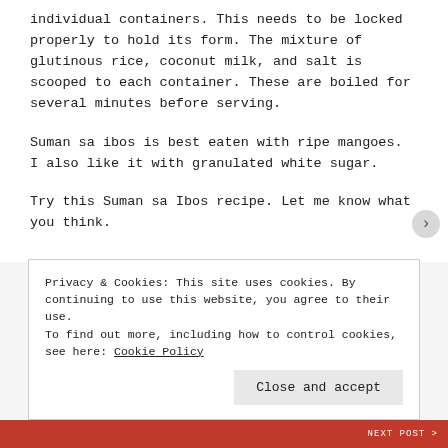individual containers. This needs to be locked properly to hold its form. The mixture of glutinous rice, coconut milk, and salt is scooped to each container. These are boiled for several minutes before serving.
Suman sa ibos is best eaten with ripe mangoes. I also like it with granulated white sugar.
Try this Suman sa Ibos recipe. Let me know what you think.
Privacy & Cookies: This site uses cookies. By continuing to use this website, you agree to their use. To find out more, including how to control cookies, see here: Cookie Policy
Close and accept